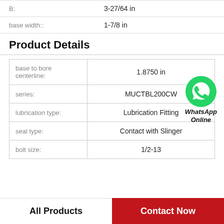B:    3-27/64 in
base width::    1-7/8 in
Product Details
| Property | Value |
| --- | --- |
| base to bore centerline: | 1.8750 in |
| series: | MUCTBL200CW |
| lubrication type: | Lubrication Fitting |
| seal type: | Contact with Slinger |
| bolt size: | 1/2-13 |
[Figure (logo): WhatsApp Online green phone icon with italic bold text 'WhatsApp Online']
All Products
Contact Now